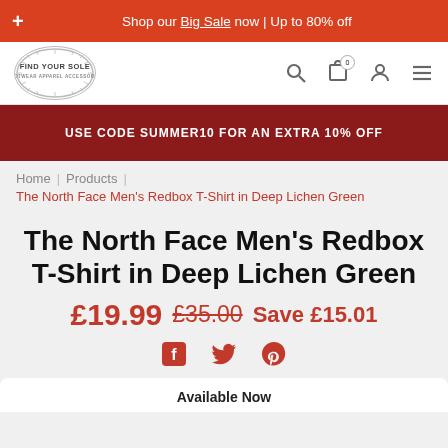Shop our Big Sale now | Up to 80% off
[Figure (logo): Find Your Sole logo — circular badge with radial lines]
USE CODE SUMMER10 FOR AN EXTRA 10% OFF
Home | Products | The North Face Men's Redbox T-Shirt in Deep Lichen Green
The North Face Men's Redbox T-Shirt in Deep Lichen Green
£19.99  £35.00  Save £15.01
[Figure (infographic): Social sharing icons: Facebook, Twitter, Pinterest]
Available Now